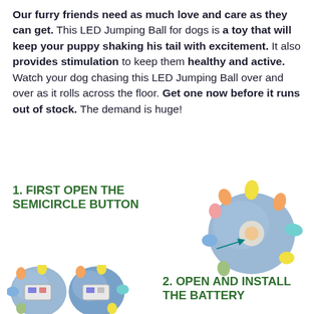Our furry friends need as much love and care as they can get. This LED Jumping Ball for dogs is a toy that will keep your puppy shaking his tail with excitement. It also provides stimulation to keep them healthy and active. Watch your dog chasing this LED Jumping Ball over and over as it rolls across the floor. Get one now before it runs out of stock. The demand is huge!
1. FIRST OPEN THE SEMICIRCLE BUTTON
[Figure (photo): LED jumping ball with colorful protruding nubs, shown with a teal arrow pointing to a semicircle button on the side]
[Figure (photo): Two LED jumping balls shown open to reveal battery compartment]
2. OPEN AND INSTALL THE BATTERY